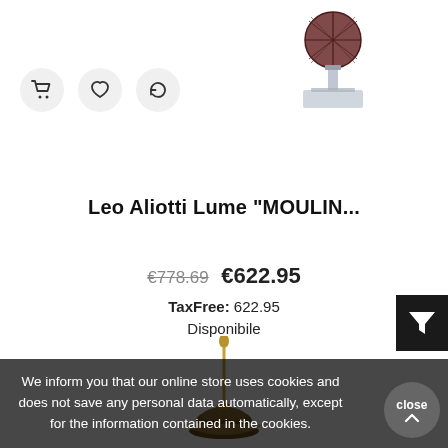[Figure (photo): Top portion of a decorative lamp with dark reddish-purple spherical shade and crystal/acrylic base]
[Figure (other): Three circular icon buttons: shopping cart, heart/wishlist, and rotate/refresh]
Leo Aliotti Lume "MOULIN...
€778.69  €622.95
TaxFree: 622.95
Disponibile
[Figure (photo): Bottom portion of a decorative table lamp with ornate golden/brass stand and warm-toned shade]
[Figure (other): Dark filter/funnel icon button on right side]
We inform you that our online store uses cookies and does not save any personal data automatically, except for the information contained in the cookies.